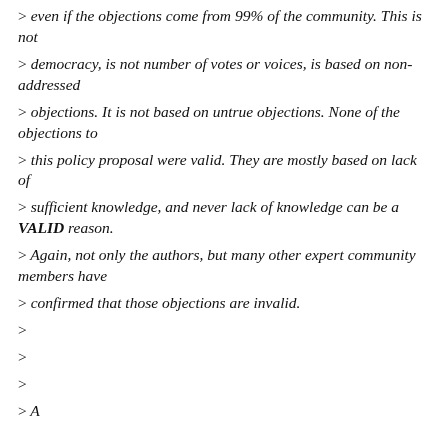> even if the objections come from 99% of the community. This is not
> democracy, is not number of votes or voices, is based on non-addressed
> objections. It is not based on untrue objections. None of the objections to
> this policy proposal were valid. They are mostly based on lack of
> sufficient knowledge, and never lack of knowledge can be a VALID reason.
> Again, not only the authors, but many other expert community members have
> confirmed that those objections are invalid.
>
>
>
> And it appears to be...